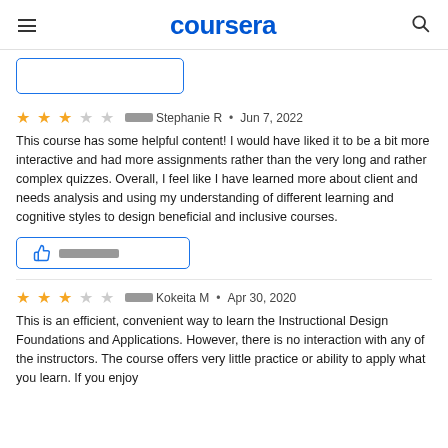coursera
⬛⬛⬛ Stephanie R • Jun 7, 2022
This course has some helpful content! I would have liked it to be a bit more interactive and had more assignments rather than the very long and rather complex quizzes. Overall, I feel like I have learned more about client and needs analysis and using my understanding of different learning and cognitive styles to design beneficial and inclusive courses.
⬛⬛⬛ Kokeita M • Apr 30, 2020
This is an efficient, convenient way to learn the Instructional Design Foundations and Applications. However, there is no interaction with any of the instructors. The course offers very little practice or ability to apply what you learn. If you enjoy